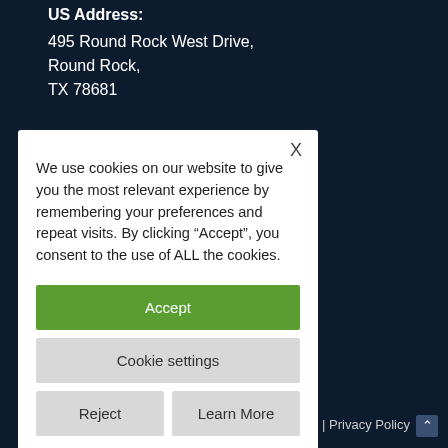US Address:
495 Round Rock West Drive,
Round Rock,
TX 78681
UK Address:
We use cookies on our website to give you the most relevant experience by remembering your preferences and repeat visits. By clicking “Accept”, you consent to the use of ALL the cookies.
Accept
Cookie settings
Reject
Learn More
Tools | Privacy Policy